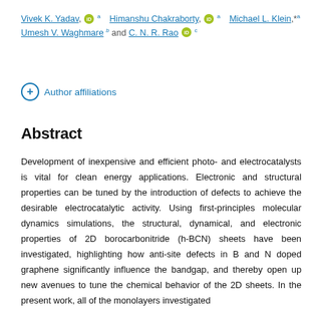Vivek K. Yadav, [ORCID] a Himanshu Chakraborty, [ORCID] a Michael L. Klein,*a Umesh V. Waghmare b and C. N. R. Rao [ORCID] c
Author affiliations
Abstract
Development of inexpensive and efficient photo- and electro-catalysts is vital for clean energy applications. Electronic and structural properties can be tuned by the introduction of defects to achieve the desirable electrocatalytic activity. Using first-principles molecular dynamics simulations, the structural, dynamical, and electronic properties of 2D borocarbonitride (h-BCN) sheets have been investigated, highlighting how anti-site defects in B and N doped graphene significantly influence the bandgap, and thereby open up new avenues to tune the chemical behavior of the 2D sheets. In the present work, all of the monolayers investigated